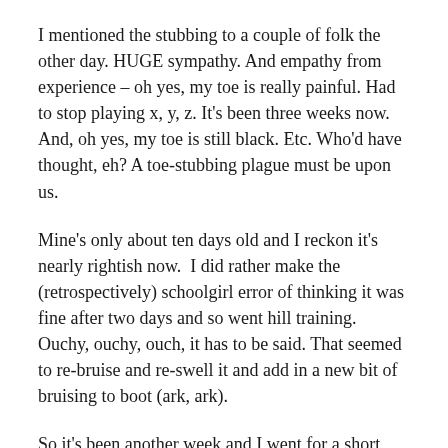I mentioned the stubbing to a couple of folk the other day. HUGE sympathy. And empathy from experience – oh yes, my toe is really painful. Had to stop playing x, y, z. It's been three weeks now.  And, oh yes, my toe is still black. Etc. Who'd have thought, eh? A toe-stubbing plague must be upon us.
Mine's only about ten days old and I reckon it's nearly rightish now.  I did rather make the (retrospectively) schoolgirl error of thinking it was fine after two days and so went hill training. Ouchy, ouchy, ouch, it has to be said. That seemed to re-bruise and re-swell it and add in a new bit of bruising to boot (ark, ark).
So it's been another week and I went for a short run. Yeah, I reckon it's nearly okay.  The toe was not so bad. The lungs and legs were a little loose and lackadaisical, though. Wow, how quickly does one lose condition, blimey.
I saw a (live) hedgehog en route. Must be my first (live one)